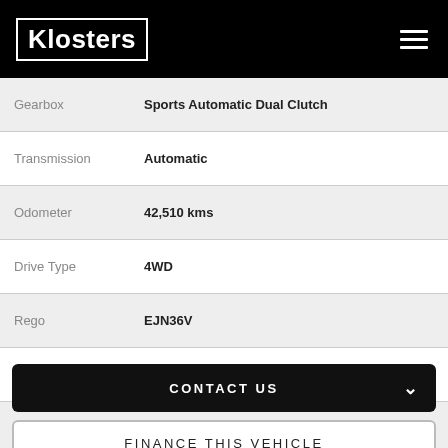[Figure (logo): Klosters logo in white text with white border on black background, with hamburger menu icon top right]
| Field | Value |
| --- | --- |
| Gearbox | Sports Automatic Dual Clutch |
| Transmission | Automatic |
| Odometer | 42,510 kms |
| Drive Type | 4WD |
| Rego | EJN36V |
| StockNo | 496595 |
| VIN | KMHK3815WKU345384 |
CONTACT US
FINANCE THIS VEHICLE